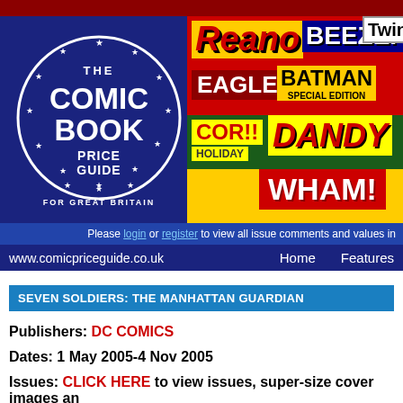[Figure (logo): The Comic Book Price Guide for Great Britain logo - circular blue badge with stars and white text, next to a colorful banner showing comic book titles: Reano, Beezer, Eagle, Batman Special Edition, Cor!! Holiday, Dandy, Twinkle, Wham]
Please login or register to view all issue comments and values in
www.comicpriceguide.co.uk    Home    Features
SEVEN SOLDIERS: THE MANHATTAN GUARDIAN
Publishers: DC COMICS
Dates: 1 May 2005-4 Nov 2005
Issues: CLICK HERE to view issues, super-size cover images an
The second of seven separate 4-issue Mini-Series in Grant Morrison's Seven Soldiers s intended, for bigger impact. This volume contains parts 3,7,11 and 15 of the 30 total par
Seven Soldiers is a metaseries published as seven interrelated Mini-Series and two bo the Sheeda, a blue-skinned race from the future that first appeared in Morrison's introdu
The full list of Mini-Series is: